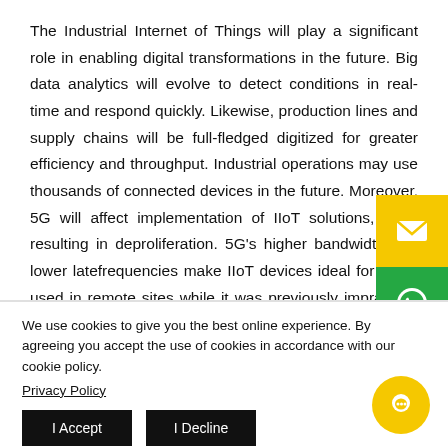The Industrial Internet of Things will play a significant role in enabling digital transformations in the future. Big data analytics will evolve to detect conditions in real-time and respond quickly. Likewise, production lines and supply chains will be full-fledged digitized for greater efficiency and throughput. Industrial operations may use thousands of connected devices in the future. Moreover, 5G will affect implementation of IIoT solutions, likely resulting in deep proliferation. 5G's higher bandwidth and lower latency frequencies make IIoT devices ideal for being used in remote sites while it was previously impractical because of the lack of a high-speed connection. In upcoming times, more businesses will use 5G connectivity as running a cable is cost prohibitive in
[Figure (other): Yellow email icon button (sidebar) and green WhatsApp icon button (sidebar) overlaid on the right side of the page]
We use cookies to give you the best online experience. By agreeing you accept the use of cookies in accordance with our cookie policy.
Privacy Policy
I Accept
I Decline
[Figure (other): Yellow circular chat/support bubble icon in the bottom right corner]